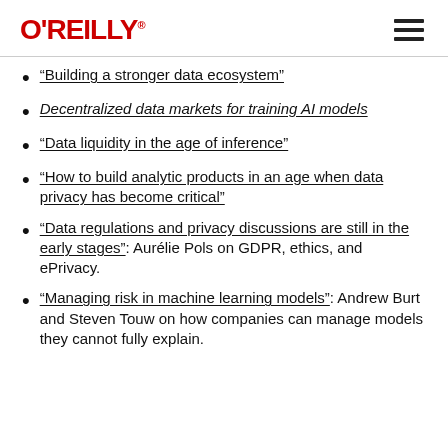O'REILLY
“Building a stronger data ecosystem”
Decentralized data markets for training AI models
“Data liquidity in the age of inference”
“How to build analytic products in an age when data privacy has become critical”
“Data regulations and privacy discussions are still in the early stages”: Aurélie Pols on GDPR, ethics, and ePrivacy.
“Managing risk in machine learning models”: Andrew Burt and Steven Touw on how companies can manage models they cannot fully explain.